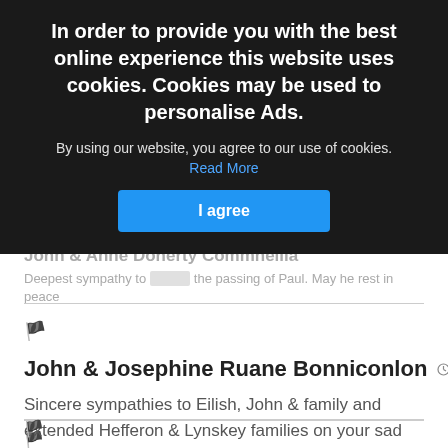In order to provide you with the best online experience this website uses cookies. Cookies may be used to personalise Ads.
By using our website, you agree to our use of cookies. Read More
I agree
John & Anne Doherty Commneilla
Deepest sympathy to ... the passing of Paul. May he rest in peace
John & Josephine Ruane Bonniconlon
8 months 28 days
Sincere sympathies to Eilish, John & family and extended Hefferon & Lynskey families on your sad loss. May he rest in peace